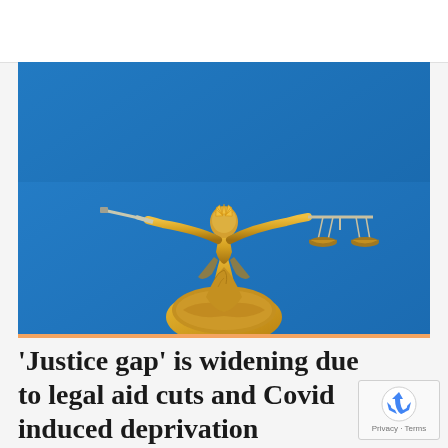[Figure (photo): Gold statue of Lady Justice (Justitia) holding scales in one hand and a sword in the other, silhouetted against a bright blue sky. The statue stands atop a dome, with ornate golden detailing.]
'Justice gap' is widening due to legal aid cuts and Covid induced deprivation